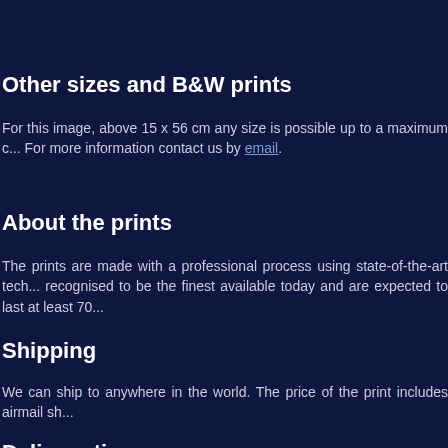Other sizes and B&W prints
For this image, above 15 x 56 cm any size is possible up to a maximum of... For more information contact us by email.
About the prints
The prints are made with a professional process using state-of-the-art technology, recognised to be the finest available today and are expected to last at least 70...
Shipping
We can ship to anywhere in the world. The price of the print includes airmail sh...
Delivery time
Each print is custom made to order by a professional lab. The delivery time co... as a few working days, but can also take longer) and the time the postal servic...
If you live within Europe, a total delivery time of 1 to several days is possible. El...